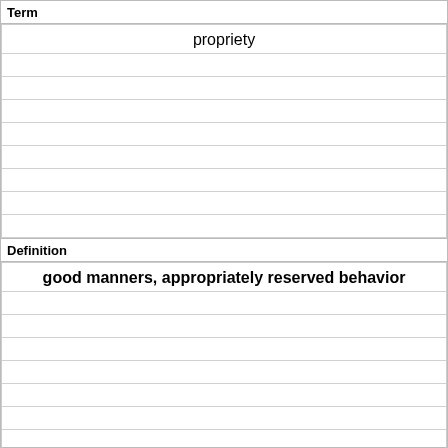| Term |
| --- |
| propriety |
|  |
|  |
|  |
|  |
|  |
|  |
|  |
|  |
| Definition |
| good manners, appropriately reserved behavior |
|  |
|  |
|  |
|  |
|  |
|  |
|  |
|  |